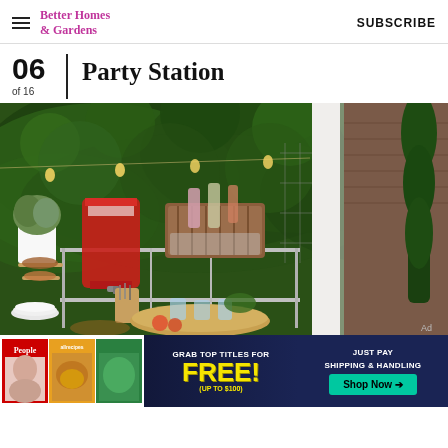Better Homes & Gardens | SUBSCRIBE
06 of 16 | Party Station
[Figure (photo): Outdoor party station with beverage dispenser filled with red punch, wooden ice bucket with bottles, tiered serving trays with snacks, plates, and a wicker tray with drinks, set against a lush green ivy-covered wall with string lights and a white pergola column.]
[Figure (other): Advertisement banner: Grab top titles for FREE (up to $100) - Just pay shipping & handling. Shop Now. Features People and Allrecipes magazine covers.]